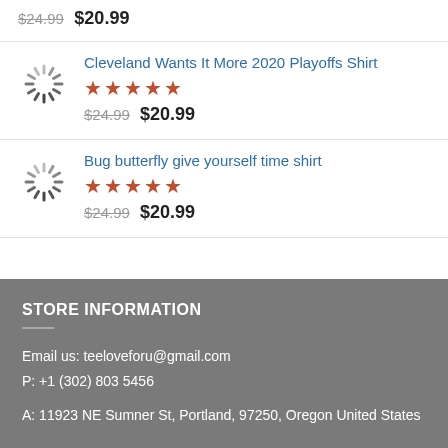$24.99  $20.99
Cleveland Wants It More 2020 Playoffs Shirt ★★★★★ $24.99  $20.99
Bug butterfly give yourself time shirt ★★★★★ $24.99  $20.99
STORE INFORMATION
Email us: teeloveforu@gmail.com
P: +1 (302) 803 5456
A: 11923 NE Sumner St, Portland, 97250, Oregon United States